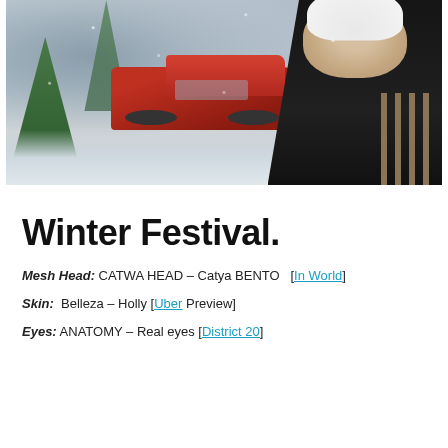[Figure (photo): Winter festival scene: a 3D rendered avatar in black outfit with white hair stands in a snowy environment. A red vintage truck is visible in the snowy background. Snow-covered trees and a wooden fence are in the scene.]
Winter Festival.
Mesh Head: CATWA HEAD – Catya BENTO  [In World]
Skin:  Belleza – Holly [Uber Preview]
Eyes: ANATOMY – Real eyes [District 20]